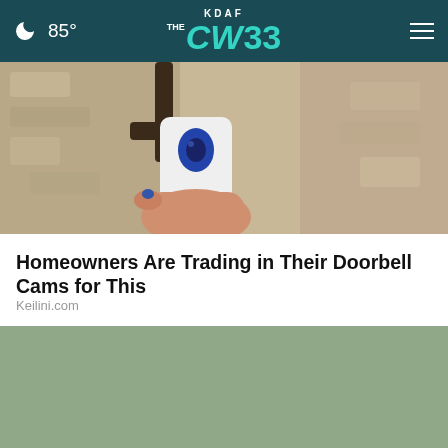85° KDAF CW33
[Figure (photo): Close-up photo of a hand holding a small white wireless security camera near a doorbell mounting on a stone wall.]
Homeowners Are Trading in Their Doorbell Cams for This
Keilini.com
[Figure (photo): Photo of a person in a light green shirt sitting behind stacks of cash/money bundles on a table.]
Ashburn OPEN | 7:30AM–6PM 43781 Parkhurst Plaza, Ashburn